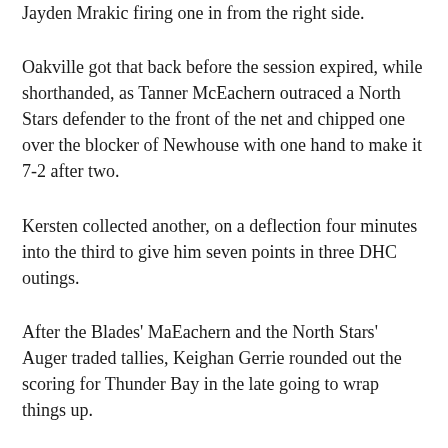Jayden Mrakic firing one in from the right side.
Oakville got that back before the session expired, while shorthanded, as Tanner McEachern outraced a North Stars defender to the front of the net and chipped one over the blocker of Newhouse with one hand to make it 7-2 after two.
Kersten collected another, on a deflection four minutes into the third to give him seven points in three DHC outings.
After the Blades' MaEachern and the North Stars' Auger traded tallies, Keighan Gerrie rounded out the scoring for Thunder Bay in the late going to wrap things up.
Blades goalkeeper Elliot made 17 stops to record the win while Newhouse allowed the nine against on 28 attempts in the season-ending loss for Thunder Bay.